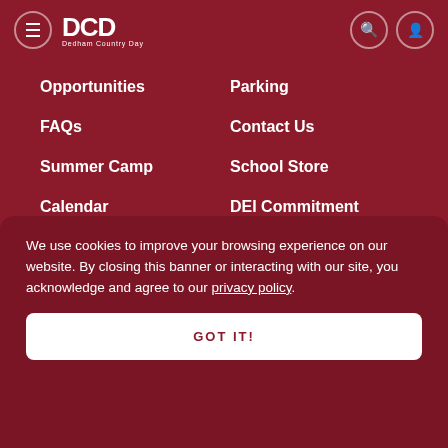DCD Dedham Country Day
Opportunities
Parking
FAQs
Contact Us
Summer Camp
School Store
Calendar
DEI Commitment
We use cookies to improve your browsing experience on our website. By closing this banner or interacting with our site, you acknowledge and agree to our privacy policy.
GOT IT!